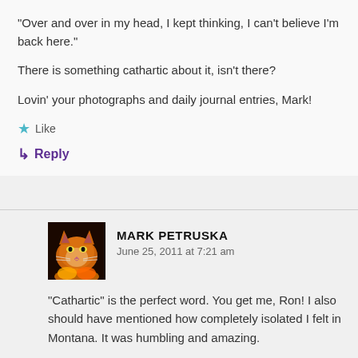“Over and over in my head, I kept thinking, I can’t believe I’m back here.”
There is something cathartic about it, isn’t there?
Lovin’ your photographs and daily journal entries, Mark!
★ Like
↳ Reply
MARK PETRUSKA
June 25, 2011 at 7:21 am
“Cathartic” is the perfect word. You get me, Ron! I also should have mentioned how completely isolated I felt in Montana. It was humbling and amazing.